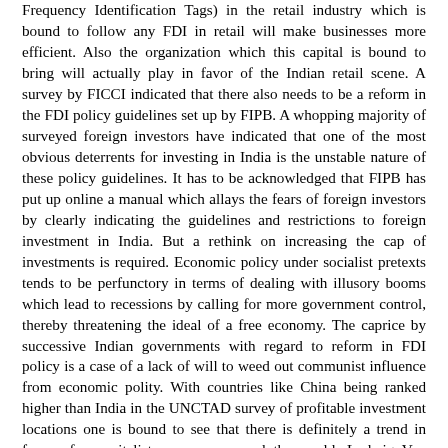Frequency Identification Tags) in the retail industry which is bound to follow any FDI in retail will make businesses more efficient. Also the organization which this capital is bound to bring will actually play in favor of the Indian retail scene. A survey by FICCI indicated that there also needs to be a reform in the FDI policy guidelines set up by FIPB. A whopping majority of surveyed foreign investors have indicated that one of the most obvious deterrents for investing in India is the unstable nature of these policy guidelines. It has to be acknowledged that FIPB has put up online a manual which allays the fears of foreign investors by clearly indicating the guidelines and restrictions to foreign investment in India. But a rethink on increasing the cap of investments is required. Economic policy under socialist pretexts tends to be perfunctory in terms of dealing with illusory booms which lead to recessions by calling for more government control, thereby threatening the ideal of a free economy. The caprice by successive Indian governments with regard to reform in FDI policy is a case of a lack of will to weed out communist influence from economic polity. With countries like China being ranked higher than India in the UNCTAD survey of profitable investment locations one is bound to see that there is definitely a trend in favor of a capitalist economy around the world. Ludwig Von Mises, the noted economist strongly voiced his support for lassiez-faire capitalism as the most advanced economic theory; whether India can move, albeit slowly,